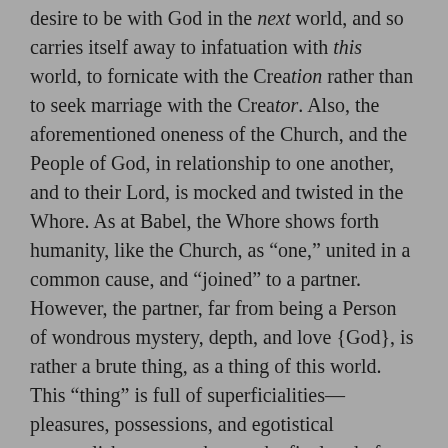desire to be with God in the next world, and so carries itself away to infatuation with this world, to fornicate with the Creation rather than to seek marriage with the Creator. Also, the aforementioned oneness of the Church, and the People of God, in relationship to one another, and to their Lord, is mocked and twisted in the Whore. As at Babel, the Whore shows forth humanity, like the Church, as “one,” united in a common cause, and “joined” to a partner. However, the partner, far from being a Person of wondrous mystery, depth, and love {God}, is rather a brute thing, as a thing of this world. This “thing” is full of superficialities—pleasures, possessions, and egotistical accomplishments—taken as the final end of man, instead of the Creator, Who is infinite goodness, and the only entity that can truly satisfy human longing.
This clearly places the worst assault on God’s love and goodness in our sexual being with the worst spiritual disorder, arrogant